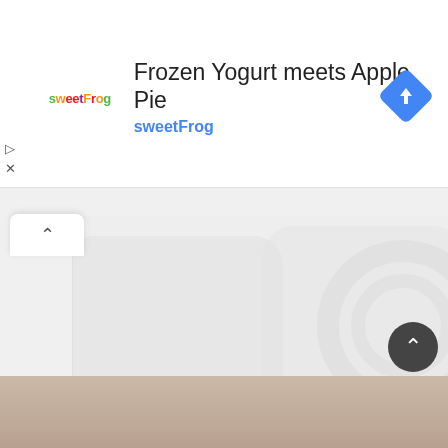[Figure (screenshot): SweetFrog advertisement banner with logo, title 'Frozen Yogurt meets Apple Pie', subtitle 'sweetFrog', and a blue Google Maps navigation diamond icon on the right.]
Frozen Yogurt meets Apple Pie
sweetFrog
$300
Two hand raised rainbow lorikeets
Male and female, nearly twelve months old. Plus cage
[Figure (screenshot): Bottom image strip showing a partial photo, likely of an animal or person.]